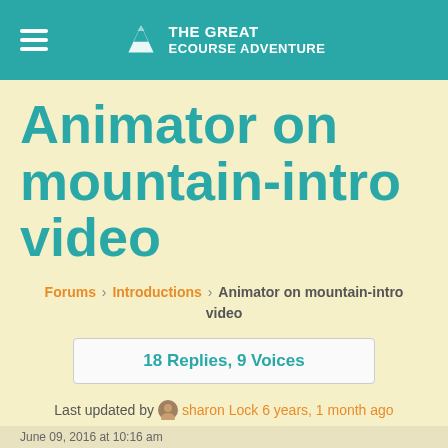THE GREAT eCOURSE ADVENTURE
Animator on mountain-intro video
Forums › Introductions › Animator on mountain-intro video
18 Replies, 9 Voices
Last updated by sharon Lock 6 years, 1 month ago
June 09, 2016 at 10:16 am